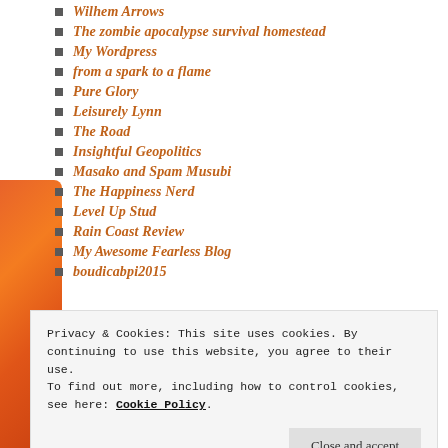Wilhem Arrows
The zombie apocalypse survival homestead
My Wordpress
from a spark to a flame
Pure Glory
Leisurely Lynn
The Road
Insightful Geopolitics
Masako and Spam Musubi
The Happiness Nerd
Level Up Stud
Rain Coast Review
My Awesome Fearless Blog
boudicabpi2015
Privacy & Cookies: This site uses cookies. By continuing to use this website, you agree to their use.
To find out more, including how to control cookies, see here: Cookie Policy
Close and accept